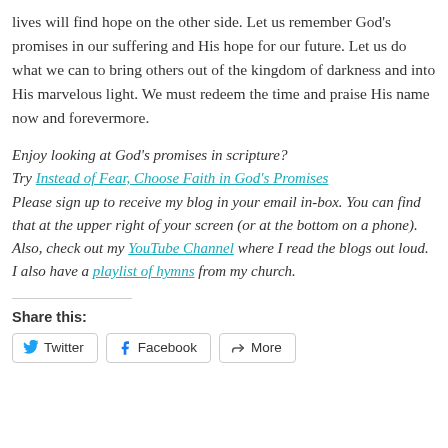lives will find hope on the other side. Let us remember God's promises in our suffering and His hope for our future. Let us do what we can to bring others out of the kingdom of darkness and into His marvelous light. We must redeem the time and praise His name now and forevermore.
Enjoy looking at God's promises in scripture? Try Instead of Fear, Choose Faith in God's Promises Please sign up to receive my blog in your email in-box. You can find that at the upper right of your screen (or at the bottom on a phone). Also, check out my YouTube Channel where I read the blogs out loud. I also have a playlist of hymns from my church.
Share this:
Twitter | Facebook | More